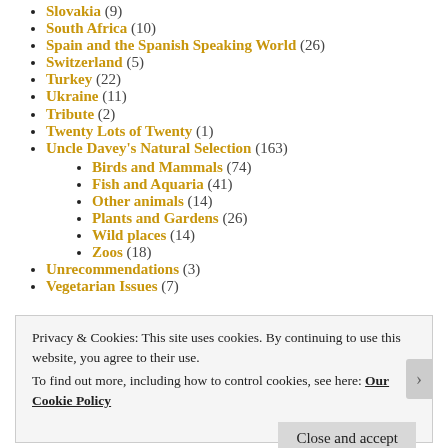Slovakia (9)
South Africa (10)
Spain and the Spanish Speaking World (26)
Switzerland (5)
Turkey (22)
Ukraine (11)
Tribute (2)
Twenty Lots of Twenty (1)
Uncle Davey's Natural Selection (163)
Birds and Mammals (74)
Fish and Aquaria (41)
Other animals (14)
Plants and Gardens (26)
Wild places (14)
Zoos (18)
Unrecommendations (3)
Vegetarian Issues (7)
Privacy & Cookies: This site uses cookies. By continuing to use this website, you agree to their use. To find out more, including how to control cookies, see here: Our Cookie Policy
Close and accept